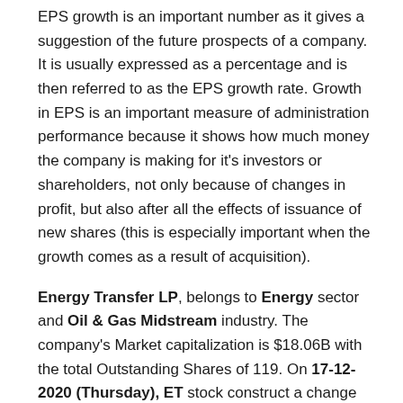EPS growth is an important number as it gives a suggestion of the future prospects of a company. It is usually expressed as a percentage and is then referred to as the EPS growth rate. Growth in EPS is an important measure of administration performance because it shows how much money the company is making for it's investors or shareholders, not only because of changes in profit, but also after all the effects of issuance of new shares (this is especially important when the growth comes as a result of acquisition).
Energy Transfer LP, belongs to Energy sector and Oil & Gas Midstream industry. The company's Market capitalization is $18.06B with the total Outstanding Shares of 119. On 17-12-2020 (Thursday), ET stock construct a change of 0.15 in a total of its share price and finished its trading at 6.88.